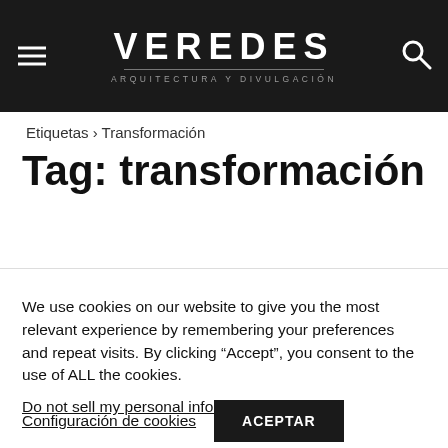VEREDES ARQUITECTURA Y DIVULGACIÓN
Etiquetas › Transformación
Tag: transformación
We use cookies on our website to give you the most relevant experience by remembering your preferences and repeat visits. By clicking “Accept”, you consent to the use of ALL the cookies. Do not sell my personal information.
Configuración de cookies   ACEPTAR